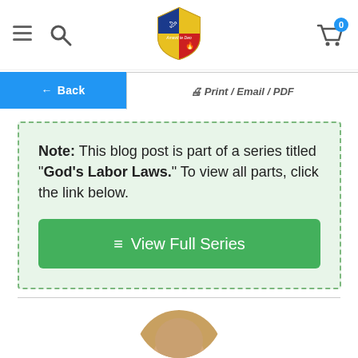Navigation bar with hamburger menu, search, shield logo, and cart (0 items)
← Back | 🖨 Print / Email / PDF
Note: This blog post is part of a series titled "God's Labor Laws." To view all parts, click the link below.
≡ View Full Series
[Figure (photo): Circular portrait photo of an older bald man, cropped at bottom of frame]